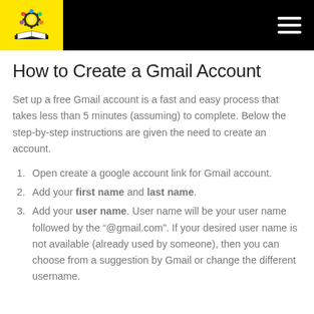How to Create a Gmail Account
Set up a free Gmail account is a fast and easy process that takes less than 5 minutes (assuming) to complete. Below the step-by-step instructions are given the need to create an account.
1. Open create a google account link for Gmail account.
2. Add your first name and last name.
3. Add your user name. User name will be your user name followed by the “@gmail.com”. If your desired user name is not available (already used by someone), then you can choose from a suggestion by Gmail or change the different username.